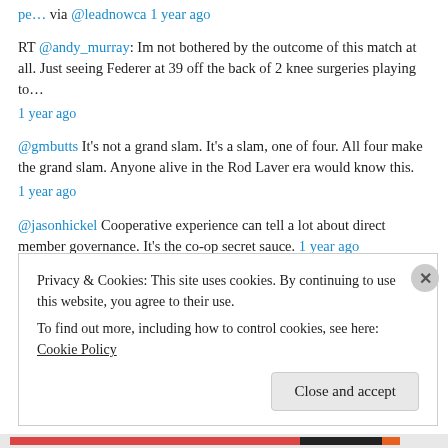pe… via @leadnowca 1 year ago
RT @andy_murray: Im not bothered by the outcome of this match at all. Just seeing Federer at 39 off the back of 2 knee surgeries playing to… 1 year ago
@gmbutts It's not a grand slam. It's a slam, one of four. All four make the grand slam. Anyone alive in the Rod Laver era would know this. 1 year ago
@jasonhickel Cooperative experience can tell a lot about direct member governance. It's the co-op secret sauce. 1 year ago
What a chance is Hazel, what wonders to behold by @scansite link.medium.com/k0jxKuGbOqb 1 year ago
Privacy & Cookies: This site uses cookies. By continuing to use this website, you agree to their use. To find out more, including how to control cookies, see here: Cookie Policy
Close and accept